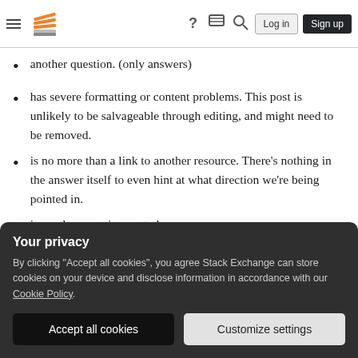Stack Exchange navigation bar with hamburger menu, logo, help, chat, search icons, Log in and Sign up buttons
another question. (only answers)
has severe formatting or content problems. This post is unlikely to be salvageable through editing, and might need to be removed.
is no more than a link to another resource. There's nothing in the answer itself to even hint at what direction we're being pointed in.
is another question posted as answer.
I know this break down easier. I just scrapped more...
Your privacy
By clicking "Accept all cookies", you agree Stack Exchange can store cookies on your device and disclose information in accordance with our Cookie Policy.
Accept all cookies  Customize settings